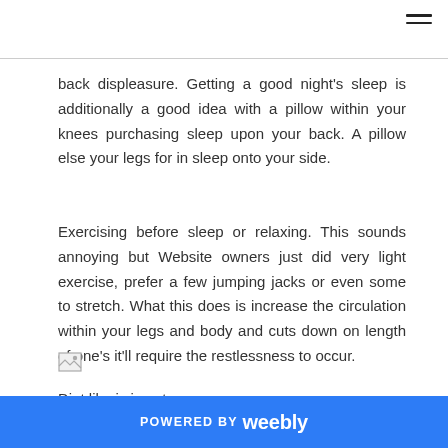back displeasure. Getting a good night's sleep is additionally a good idea with a pillow within your knees purchasing sleep upon your back. A pillow else your legs for in sleep onto your side.
Exercising before sleep or relaxing. This sounds annoying but Website owners just did very light exercise, prefer a few jumping jacks or even some to stretch. What this does is increase the circulation within your legs and body and cuts down on length of one's it'll require the restlessness to occur.
[Figure (photo): Broken image placeholder icon]
Diet like is is not a...
POWERED BY weebly